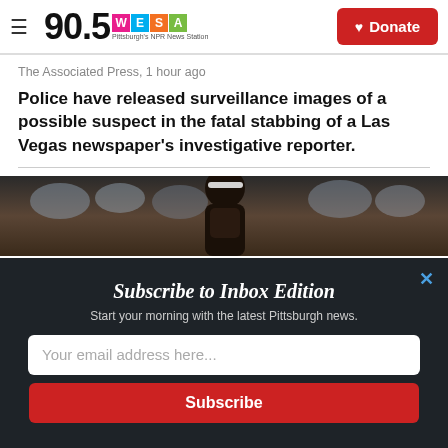90.5 WESA Pittsburgh's NPR News Station | Donate
The Associated Press,  1 hour ago
Police have released surveillance images of a possible suspect in the fatal stabbing of a Las Vegas newspaper's investigative reporter.
[Figure (photo): A dark blurry photo of an athlete at a sporting event, crowd visible in background]
Subscribe to Inbox Edition
Start your morning with the latest Pittsburgh news.
Your email address here...
Subscribe